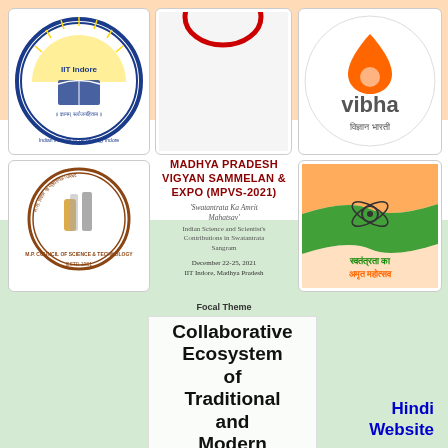[Figure (logo): IIT Indore logo - circular seal with sun rays, book, and text 'IIT Indore' and 'Indian Institute of Technology Indore' with motto]
[Figure (logo): Madhya Pradesh Vigyan Sammelan logo - partial red arch/logo visible at top]
[Figure (logo): Vibha logo - white circular button with orange teardrop/flame icon and text 'vibha' with 'विज्ञान भारती' below]
[Figure (logo): M.P. Council of Science and Technology logo - circular seal with lab equipment, text 'M.P. COUNCIL OF SCIENCE & TECHNOLOGY' and 'ESTD 1981']
[Figure (logo): Swatantrata Ka Amrit Mahotsav logo - Indian flag colors with atom symbol and Hindi text 'स्वतंत्रता का अमृत महोत्सव']
MADHYA PRADESH VIGYAN SAMMELAN & EXPO (MPVS-2021)
'Swatantrata Ka Amrit Mahatsav' Indian Science and Scientist's Contributions in Swatantrata Sangram
December 22-25, 2021
IIT Indore, Madhya Pradesh
Focal Theme
Collaborative Ecosystem of Traditional and Modern Sciences for Vikashit
Hindi Website